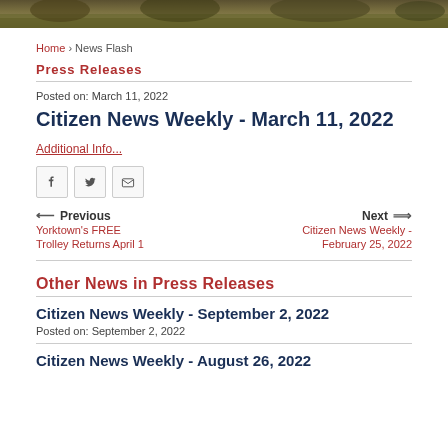[Figure (photo): Photo strip of outdoor scenery at top of page]
Home › News Flash
Press Releases
Posted on: March 11, 2022
Citizen News Weekly - March 11, 2022
Additional Info...
[Figure (infographic): Social sharing icons: Facebook, Twitter, Email]
Previous
Yorktown's FREE Trolley Returns April 1
Next
Citizen News Weekly - February 25, 2022
Other News in Press Releases
Citizen News Weekly - September 2, 2022
Posted on: September 2, 2022
Citizen News Weekly - August 26, 2022